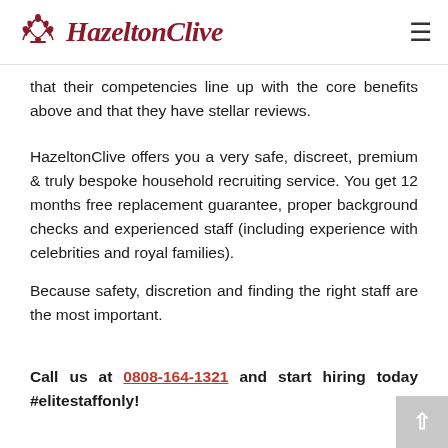HazeltonClive
that their competencies line up with the core benefits above and that they have stellar reviews.
HazeltonClive offers you a very safe, discreet, premium & truly bespoke household recruiting service. You get 12 months free replacement guarantee, proper background checks and experienced staff (including experience with celebrities and royal families).
Because safety, discretion and finding the right staff are the most important.
Call us at 0808-164-1321 and start hiring today #elitestaffonly!